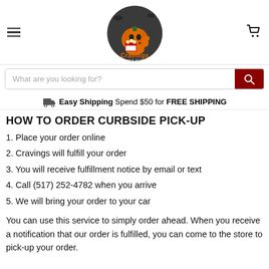[Figure (logo): Cravings Gourmet Popcorn logo with Halloween pumpkin character holding popcorn]
What are you looking for?
Easy Shipping  Spend $50 for FREE SHIPPING
HOW TO ORDER CURBSIDE PICK-UP
1. Place your order online
2. Cravings will fulfill your order
3. You will receive fulfillment notice by email or text
4. Call (517) 252-4782 when you arrive
5. We will bring your order to your car
You can use this service to simply order ahead. When you receive a notification that our order is fulfilled, you can come to the store to pick-up your order.